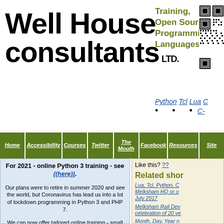[Figure (logo): Well House Consultants LTD. logo in bold black text]
Training, Open Source Programming Languages
[Figure (other): QR code image on right side of header]
Python  Tcl  Lua  C  •  •  •  C-
Home | Accessibility | Courses | Twitter | The Mouth | Facebook | Resources | Site
For 2021 - online Python 3 training - see ((here)).
Our plans were to retire in summer 2020 and see the world, but Coronavirus has lead us into a lot of lockdown programming in Python 3 and PHP 7. We can now offer tailored online training - small groups, real tutors, works really well for groups
Like this? ??
Related shor
Lua, Tcl, Python, C - Melksham HQ or o - July 2017
Melksham Rail Dev - celebration of 20 ye
Month, Day, Year n - and month name